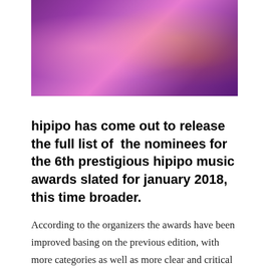[Figure (photo): Two people in purple outfits; one wearing pink fabric, the other wearing a gold watch and chain necklace, both dressed in vibrant purple clothing.]
hipipo has come out to release the full list of the nominees for the 6th prestigious hipipo music awards slated for january 2018, this time broader.
According to the organizers the awards have been improved basing on the previous edition, with more categories as well as more clear and critical voting process.